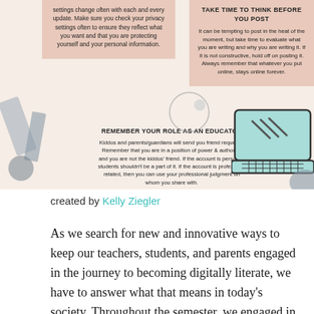[Figure (infographic): Infographic about social media tips for educators. Contains two pink/salmon boxes with text: one about checking privacy settings, another titled 'TAKE TIME TO THINK BEFORE YOU POST' about evaluating posts. A lower center section titled 'REMEMBER YOUR ROLE AS AN EDUCATOR' about not accepting student friend requests. Decorative illustration of a laptop and desk items.]
created by Kelly Ziegler
As we search for new and innovative ways to keep our teachers, students, and parents engaged in the journey to becoming digitally literate, we have to answer what that means in today’s society. Throughout the semester, we engaged in conversations about what it means to be